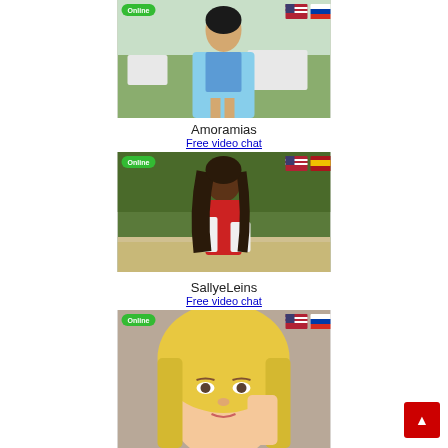[Figure (photo): Woman in blue dress/coat outdoors, online badge, US and Russian flags shown]
Amoramias
Free video chat
[Figure (photo): Woman in red dress outdoors, online badge, US and Spanish flags shown]
SallyeLeins
Free video chat
[Figure (photo): Blonde woman close-up, online badge, US and Russian flags shown]